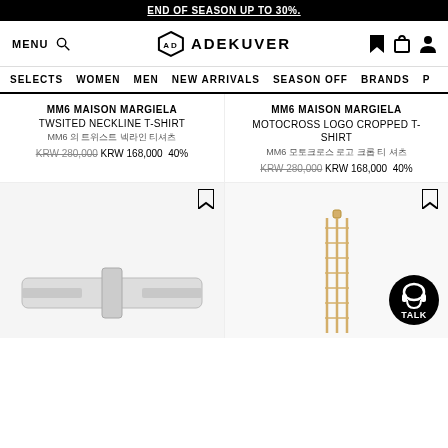END OF SEASON UP TO 30%.
MENU  ADEKUVER  (navigation icons)
SELECTS  WOMEN  MEN  NEW ARRIVALS  SEASON OFF  BRANDS  P
MM6 MAISON MARGIELA
TWSITED NECKLINE T-SHIRT
MM6 (Korean text)
KRW 280,000  KRW 168,000  40%
MM6 MAISON MARGIELA
MOTOCROSS LOGO CROPPED T-SHIRT
MM6 (Korean text)
KRW 280,000  KRW 168,000  40%
[Figure (photo): Product image area - white belt/strap item]
[Figure (photo): Product image area - chain/jewelry item with TALK customer service badge]